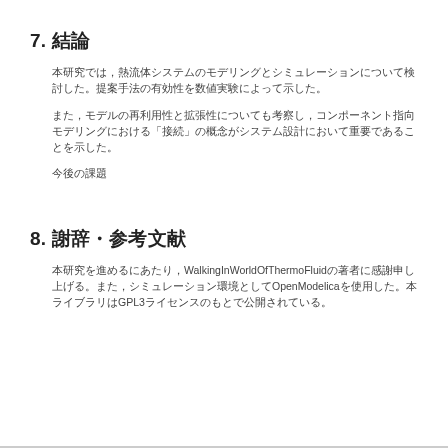7. 結論
本研究では，熱流体システムのモデリングとシミュレーションについて検討した。提案手法の有効性を数値実験によって示した。
また，モデルの再利用性と拡張性についても考察し，コンポーネント指向モデリングにおける「接続」の概念がシステム設計において重要であることを示した。
今後の課題
8. 謝辞・参考文献
本研究を進めるにあたり，WalkingInWorldOfThermoFluidの著者に感謝申し上げる。また，シミュレーション環境としてOpenModelicaを使用した。本ライブラリはGPL3ライセンスのもとで公開されている。